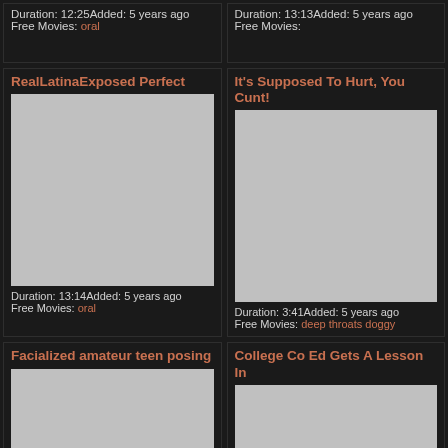Duration: 12:25Added: 5 years ago
Free Movies: oral
Duration: 13:13Added: 5 years ago
Free Movies:
RealLatinaExposed Perfect
It's Supposed To Hurt, You Cunt!
[Figure (photo): Gray placeholder thumbnail]
[Figure (photo): Gray placeholder thumbnail]
Duration: 13:14Added: 5 years ago
Free Movies: oral
Duration: 3:41Added: 5 years ago
Free Movies: deep throats doggy
Facialized amateur teen posing
College Co Ed Gets A Lesson In
[Figure (photo): Gray placeholder thumbnail]
[Figure (photo): Gray placeholder thumbnail]